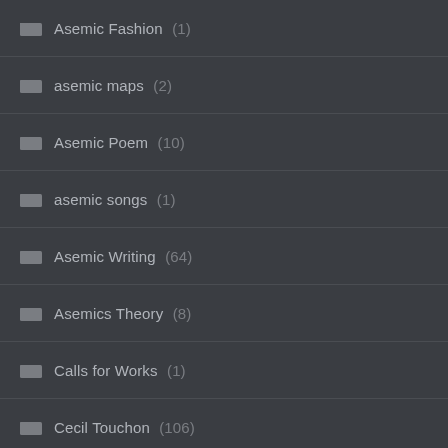Asemic Fashion (1)
asemic maps (2)
Asemic Poem (10)
asemic songs (1)
Asemic Writing (64)
Asemics Theory (8)
Calls for Works (1)
Cecil Touchon (106)
Exhibitions (9)
Experimental Music Notation (3)